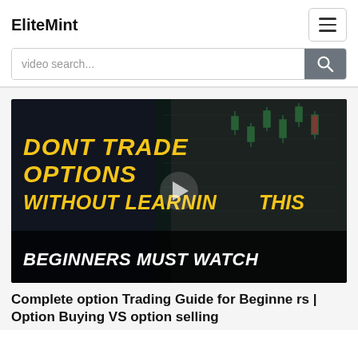EliteMint
video search...
[Figure (screenshot): Video thumbnail showing a man in a shirt with text overlay: 'DONT TRADE OPTIONS WITHOUT LEARNIN THIS' and 'BEGINNERS MUST WATCH' on a dark financial chart background, with a play button overlay.]
Complete option Trading Guide for Beginners | Option Buying VS option selling